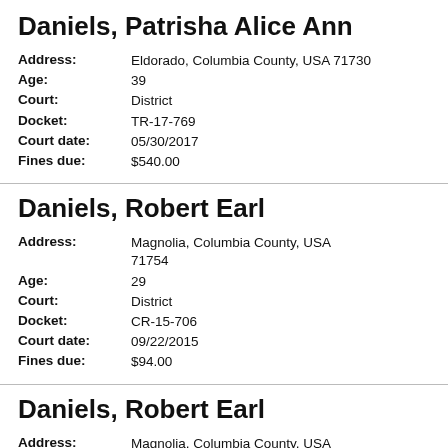Daniels, Patrisha Alice Ann
| Field | Value |
| --- | --- |
| Address: | Eldorado, Columbia County, USA 71730 |
| Age: | 39 |
| Court: | District |
| Docket: | TR-17-769 |
| Court date: | 05/30/2017 |
| Fines due: | $540.00 |
Daniels, Robert Earl
| Field | Value |
| --- | --- |
| Address: | Magnolia, Columbia County, USA 71754 |
| Age: | 29 |
| Court: | District |
| Docket: | CR-15-706 |
| Court date: | 09/22/2015 |
| Fines due: | $94.00 |
Daniels, Robert Earl
| Field | Value |
| --- | --- |
| Address: | Magnolia, Columbia County, USA 71754 |
| Age: | 32 |
| Court: | Circuit Court |